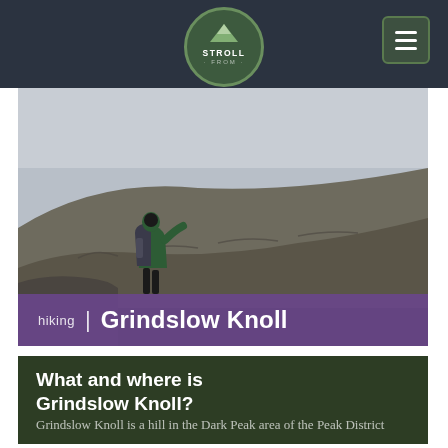STROLL — navigation bar with logo and hamburger menu
[Figure (photo): A hiker with a large backpack standing on a rocky outcrop, looking out over a dramatic hillside landscape under overcast skies in the Dark Peak / Peak District area. Below the image is a purple overlay banner reading: hiking | Grindslow Knoll]
What and where is Grindslow Knoll?
Grindslow Knoll is a hill in the Dark Peak area of the Peak District